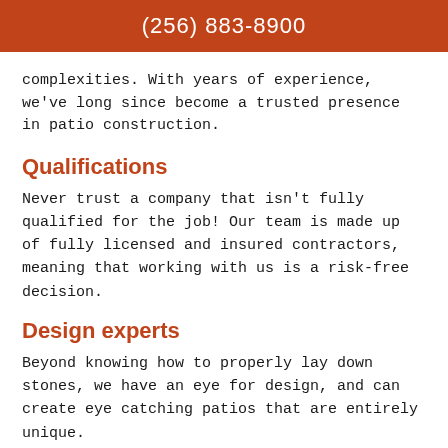(256) 883-8900
complexities. With years of experience, we've long since become a trusted presence in patio construction.
Qualifications
Never trust a company that isn't fully qualified for the job! Our team is made up of fully licensed and insured contractors, meaning that working with us is a risk-free decision.
Design experts
Beyond knowing how to properly lay down stones, we have an eye for design, and can create eye catching patios that are entirely unique.
Honest, reliable service